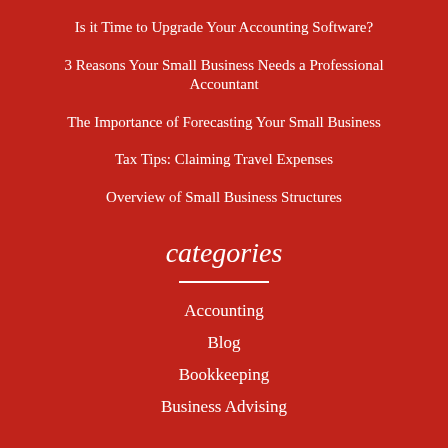Is it Time to Upgrade Your Accounting Software?
3 Reasons Your Small Business Needs a Professional Accountant
The Importance of Forecasting Your Small Business
Tax Tips: Claiming Travel Expenses
Overview of Small Business Structures
categories
Accounting
Blog
Bookkeeping
Business Advising